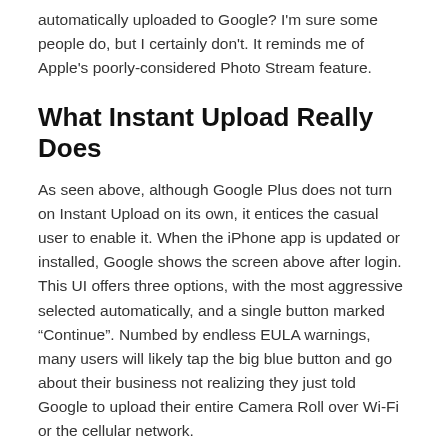automatically uploaded to Google? I'm sure some people do, but I certainly don't. It reminds me of Apple's poorly-considered Photo Stream feature.
What Instant Upload Really Does
As seen above, although Google Plus does not turn on Instant Upload on its own, it entices the casual user to enable it. When the iPhone app is updated or installed, Google shows the screen above after login. This UI offers three options, with the most aggressive selected automatically, and a single button marked “Continue”. Numbed by endless EULA warnings, many users will likely tap the big blue button and go about their business not realizing they just told Google to upload their entire Camera Roll over Wi-Fi or the cellular network.